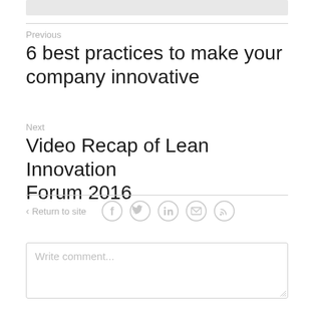Previous
6 best practices to make your company innovative
Next
Video Recap of Lean Innovation Forum 2016
< Return to site
Write comment...